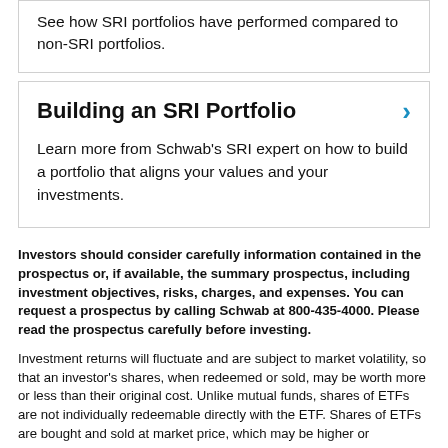See how SRI portfolios have performed compared to non-SRI portfolios.
Building an SRI Portfolio
Learn more from Schwab's SRI expert on how to build a portfolio that aligns your values and your investments.
Investors should consider carefully information contained in the prospectus or, if available, the summary prospectus, including investment objectives, risks, charges, and expenses. You can request a prospectus by calling Schwab at 800-435-4000. Please read the prospectus carefully before investing.
Investment returns will fluctuate and are subject to market volatility, so that an investor's shares, when redeemed or sold, may be worth more or less than their original cost. Unlike mutual funds, shares of ETFs are not individually redeemable directly with the ETF. Shares of ETFs are bought and sold at market price, which may be higher or